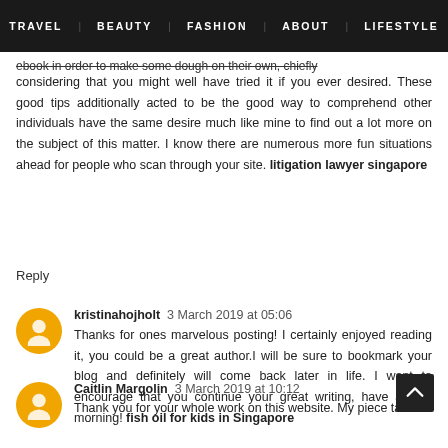TRAVEL | BEAUTY | FASHION | ABOUT | LIFESTYLE
considering that you might well have tried it if you ever desired. These good tips additionally acted to be the good way to comprehend other individuals have the same desire much like mine to find out a lot more on the subject of this matter. I know there are numerous more fun situations ahead for people who scan through your site. litigation lawyer singapore
Reply
kristinahojholt  3 March 2019 at 05:06
Thanks for ones marvelous posting! I certainly enjoyed reading it, you could be a great author.I will be sure to bookmark your blog and definitely will come back later in life. I want to encourage that you continue your great writing, have a nice morning! fish oil for kids in Singapore
Reply
Caitlin Margolin  3 March 2019 at 10:12
Thank you for your whole work on this website. My piece takes